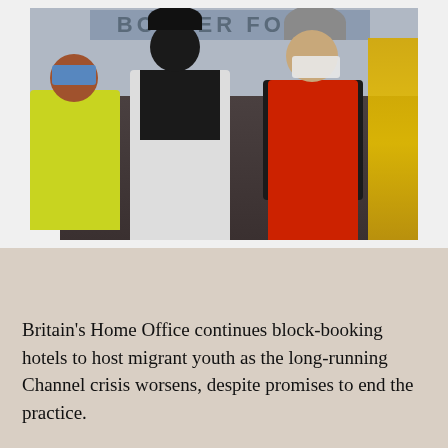[Figure (photo): Migrants wearing face masks and life vests being escorted at a dock, with a person in a yellow high-vis vest, a person in a white hazmat-style jacket, and a person in a red life vest wrapped in a gold thermal blanket. A large grey vessel is visible in the background.]
Britain's Home Office continues block-booking hotels to host migrant youth as the long-running Channel crisis worsens, despite promises to end the practice.